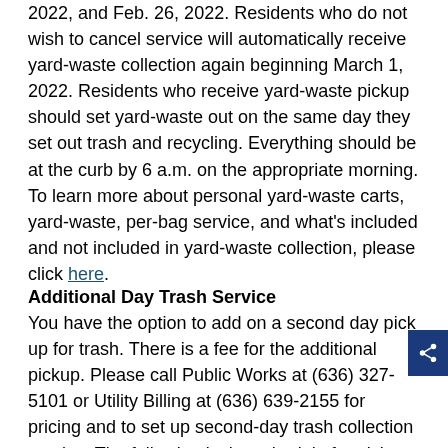2022, and Feb. 26, 2022. Residents who do not wish to cancel service will automatically receive yard-waste collection again beginning March 1, 2022. Residents who receive yard-waste pickup should set yard-waste out on the same day they set out trash and recycling. Everything should be at the curb by 6 a.m. on the appropriate morning. To learn more about personal yard-waste carts, yard-waste, per-bag service, and what's included and not included in yard-waste collection, please click here.
Additional Day Trash Service
You have the option to add on a second day pick up for trash. There is a fee for the additional pickup. Please call Public Works at (636) 327-5101 or Utility Billing at (636) 639-2155 for pricing and to set up second-day trash collection service. The following is the schedule for pickup days:
| Primary Pick Up Day | Second Pickup Day |
| --- | --- |
| Monday | Thursday |